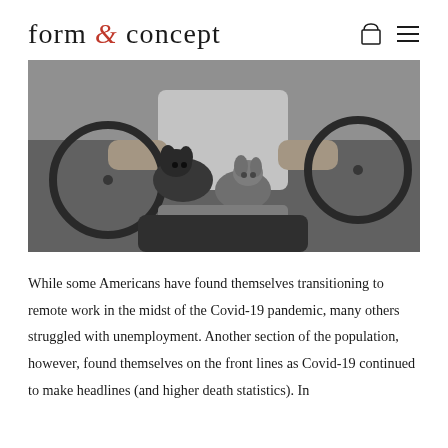form & concept
[Figure (photo): Black and white photograph of a person sitting with two small dogs (chihuahuas) on their lap, with bicycles and a brick wall in the background.]
While some Americans have found themselves transitioning to remote work in the midst of the Covid-19 pandemic, many others struggled with unemployment. Another section of the population, however, found themselves on the front lines as Covid-19 continued to make headlines (and higher death statistics). In